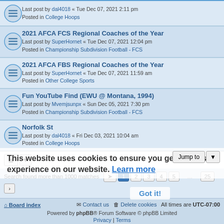2021 AFCA FCS Regional Coaches of the Year
Last post by SuperHornet « Tue Dec 07, 2021 12:04 pm
Posted in Championship Subdivision Football - FCS
2021 AFCA FBS Regional Coaches of the Year
Last post by SuperHornet « Tue Dec 07, 2021 11:59 am
Posted in Other College Sports
Fun YouTube Find (EWU @ Montana, 1994)
Last post by Mvemjsunpx « Sun Dec 05, 2021 7:30 pm
Posted in Championship Subdivision Football - FCS
Norfolk St
Last post by dal4018 « Fri Dec 03, 2021 10:04 am
Posted in College Hoops
Search found more than 1000 matches
This website uses cookies to ensure you get the best experience on our website. Learn more
Board index | Contact us | Delete cookies | All times are UTC-07:00
Powered by phpBB® Forum Software © phpBB Limited
Privacy | Terms